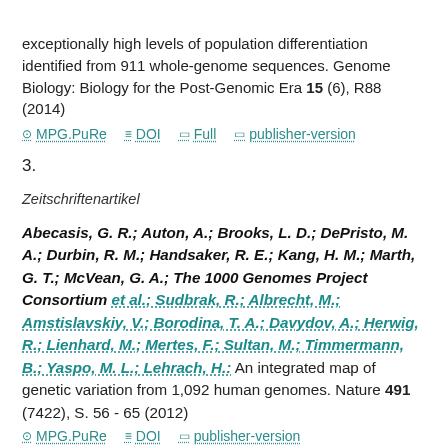exceptionally high levels of population differentiation identified from 911 whole-genome sequences. Genome Biology: Biology for the Post-Genomic Era 15 (6), R88 (2014)
MPG.PuRe  DOI  Full  publisher-version
3.
Zeitschriftenartikel
Abecasis, G. R.; Auton, A.; Brooks, L. D.; DePristo, M. A.; Durbin, R. M.; Handsaker, R. E.; Kang, H. M.; Marth, G. T.; McVean, G. A.; The 1000 Genomes Project Consortium et al.; Sudbrak, R.; Albrecht, M.; Amstislavskiy, V.; Borodina, T. A.; Davydov, A.; Herwig, R.; Lienhard, M.; Mertes, F.; Sultan, M.; Timmermann, B.; Yaspo, M. L.; Lehrach, H.: An integrated map of genetic variation from 1,092 human genomes. Nature 491 (7422), S. 56 - 65 (2012)
MPG.PuRe  DOI  publisher-version